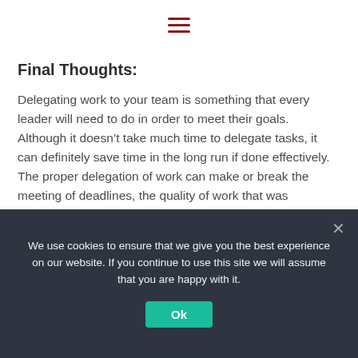[hamburger menu icon]
Final Thoughts:
Delegating work to your team is something that every leader will need to do in order to meet their goals.  Although it doesn’t take much time to delegate tasks, it can definitely save time in the long run if done effectively.  The proper delegation of work can make or break the meeting of deadlines, the quality of work that was expected, and most importantly affect the amount of development that an employee gets out of it.  We have provided you with tips and a
We use cookies to ensure that we give you the best experience on our website. If you continue to use this site we will assume that you are happy with it.